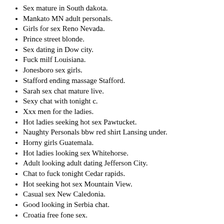Sex mature in South dakota.
Mankato MN adult personals.
Girls for sex Reno Nevada.
Prince street blonde.
Sex dating in Dow city.
Fuck milf Louisiana.
Jonesboro sex girls.
Stafford ending massage Stafford.
Sarah sex chat mature live.
Sexy chat with tonight c.
Xxx men for the ladies.
Hot ladies seeking hot sex Pawtucket.
Naughty Personals bbw red shirt Lansing under.
Horny girls Guatemala.
Hot ladies looking sex Whitehorse.
Adult looking adult dating Jefferson City.
Chat to fuck tonight Cedar rapids.
Hot seeking hot sex Mountain View.
Casual sex New Caledonia.
Good looking in Serbia chat.
Croatia free fone sex.
email: gqkkeqolxb@gmail.com - phone:(708) 217-8211 x 8608
Looking for sex in Glendale.
Live chat mingur orn